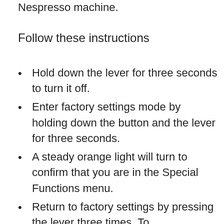Nespresso machine.
Follow these instructions
Hold down the lever for three seconds to turn it off.
Enter factory settings mode by holding down the button and the lever for three seconds.
A steady orange light will turn to confirm that you are in the Special Functions menu.
Return to factory settings by pressing the lever three times. To